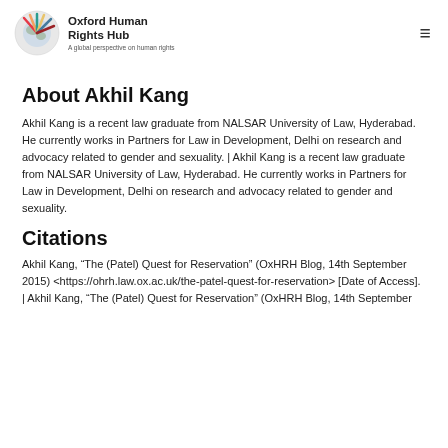Oxford Human Rights Hub — A global perspective on human rights
About Akhil Kang
Akhil Kang is a recent law graduate from NALSAR University of Law, Hyderabad. He currently works in Partners for Law in Development, Delhi on research and advocacy related to gender and sexuality. | Akhil Kang is a recent law graduate from NALSAR University of Law, Hyderabad. He currently works in Partners for Law in Development, Delhi on research and advocacy related to gender and sexuality.
Citations
Akhil Kang, “The (Patel) Quest for Reservation” (OxHRH Blog, 14th September 2015) <https://ohrh.law.ox.ac.uk/the-patel-quest-for-reservation> [Date of Access]. | Akhil Kang, “The (Patel) Quest for Reservation” (OxHRH Blog, 14th September